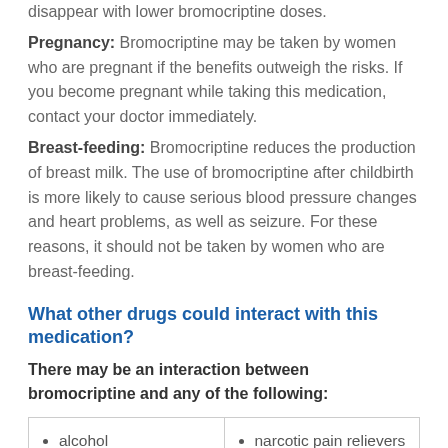disappear with lower bromocriptine doses.
Pregnancy: Bromocriptine may be taken by women who are pregnant if the benefits outweigh the risks. If you become pregnant while taking this medication, contact your doctor immediately.
Breast-feeding: Bromocriptine reduces the production of breast milk. The use of bromocriptine after childbirth is more likely to cause serious blood pressure changes and heart problems, as well as seizure. For these reasons, it should not be taken by women who are breast-feeding.
What other drugs could interact with this medication?
There may be an interaction between bromocriptine and any of the following:
| alcohol
aliskiren
alpha-agonists (e.g., clonidine, | narcotic pain relievers (e.g., codeine, fentanyl, morphine, oxycodone) |